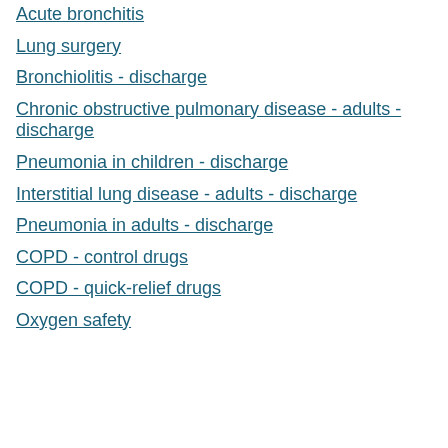Acute bronchitis
Lung surgery
Bronchiolitis - discharge
Chronic obstructive pulmonary disease - adults - discharge
Pneumonia in children - discharge
Interstitial lung disease - adults - discharge
Pneumonia in adults - discharge
COPD - control drugs
COPD - quick-relief drugs
Oxygen safety